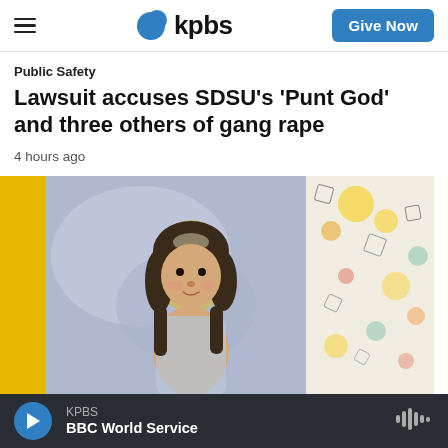kpbs | Give Now
Public Safety
Lawsuit accuses SDSU's 'Punt God' and three others of gang rape
4 hours ago
[Figure (illustration): Illustrated image of a young girl with dark hair in a colorful abstract painted background with yellow, blue, orange and teal colors]
KPBS BBC World Service